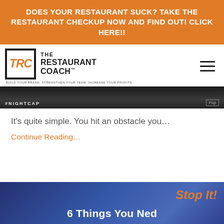DOES YOUR RESTAURANT SUCK? TAKE THE RESTAURANT CHECKUP NOW AND FIND OUT! CLICK HERE!!
[Figure (logo): The Restaurant Coach (TRC) logo with tagline: BUILD YOUR BRAND. STRENGTHEN YOUR TEAM. INCREASE YOUR PROFITS.]
[Figure (photo): Dark image with #NIGHTCAP hashtag and Pop network branding, partially visible at top of content]
It's quite simple. You hit an obstacle you...
Continue Reading...
[Figure (photo): Blue-tinted image with text overlay reading 'Stop It!' in orange and '6 Things You Ne...' in white bold text]